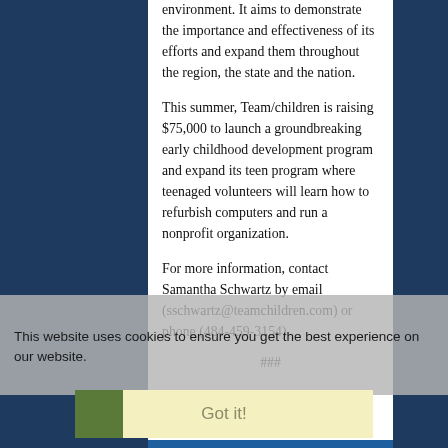environment. It aims to demonstrate the importance and effectiveness of its efforts and expand them throughout the region, the state and the nation.
This summer, Team/children is raising $75,000 to launch a groundbreaking early childhood development program and expand its teen program where teenaged volunteers will learn how to refurbish computers and run a nonprofit organization.
For more information, contact Samantha Schwartz by email (sschwartz@teamchildren.com) or phone (484-459-3154).
###
This website uses cookies to ensure you get the best experience on our website.
News Media Interview Contact
Name: Robert Toporek